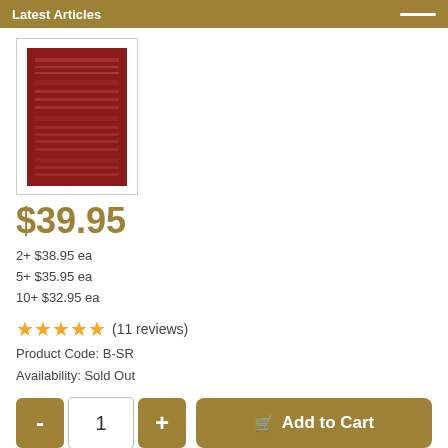Latest Articles
[Figure (photo): Red book cover thumbnail]
$39.95
2+ $38.95 ea
5+ $35.95 ea
10+ $32.95 ea
★★★★★ (11 reviews)
Product Code: B-SR
Availability: Sold Out
- 1 + Add to Cart
Tweet  Share  5
Description  Contents  Author  Reviews (11)